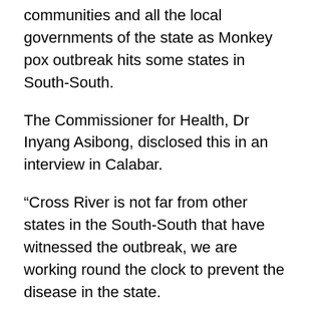communities and all the local governments of the state as Monkey pox outbreak hits some states in South-South.
The Commissioner for Health, Dr Inyang Asibong, disclosed this in an interview in Calabar.
“Cross River is not far from other states in the South-South that have witnessed the outbreak, we are working round the clock to prevent the disease in the state.
“As soon as we heard about the outbreak, we took extra precautions. Already, we have a team set up for infection, disease preparedness and control.